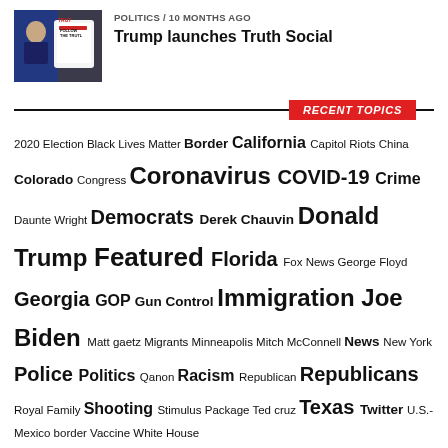[Figure (photo): Thumbnail image of Trump holding a phone with Truth Social branding]
POLITICS / 10 months ago
Trump launches Truth Social
RECENT TOPICS
2020 Election Black Lives Matter Border California Capitol Riots China Colorado Congress Coronavirus COVID-19 Crime Daunte Wright Democrats Derek Chauvin Donald Trump Featured Florida Fox News George Floyd Georgia GOP Gun Control Immigration Joe Biden Matt gaetz Migrants Minneapolis Mitch McConnell News New York Police Politics Qanon Racism Republican Republicans Royal Family Shooting Stimulus Package Ted cruz Texas Twitter U.S.-Mexico border Vaccine White House
SPONSORS
RECENT POSTS